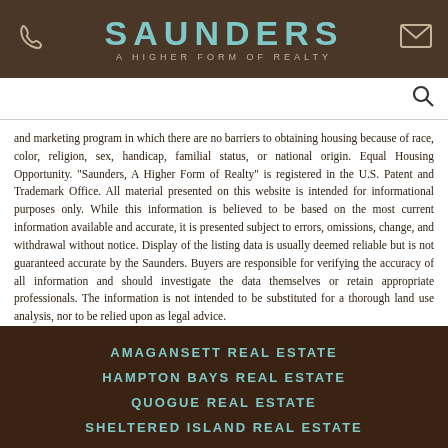SAUNDERS A HIGHER FORM OF REALTY
and marketing program in which there are no barriers to obtaining housing because of race, color, religion, sex, handicap, familial status, or national origin. Equal Housing Opportunity. "Saunders, A Higher Form of Realty" is registered in the U.S. Patent and Trademark Office. All material presented on this website is intended for informational purposes only. While this information is believed to be based on the most current information available and accurate, it is presented subject to errors, omissions, change, and withdrawal without notice. Display of the listing data is usually deemed reliable but is not guaranteed accurate by the Saunders. Buyers are responsible for verifying the accuracy of all information and should investigate the data themselves or retain appropriate professionals. The information is not intended to be substituted for a thorough land use analysis, nor to be relied upon as legal advice.
AMAGANSETT REAL ESTATE
HAMPTON BAYS REAL ESTATE
QUOGUE REAL ESTATE
SHELTERED ISLAND REAL ESTATE